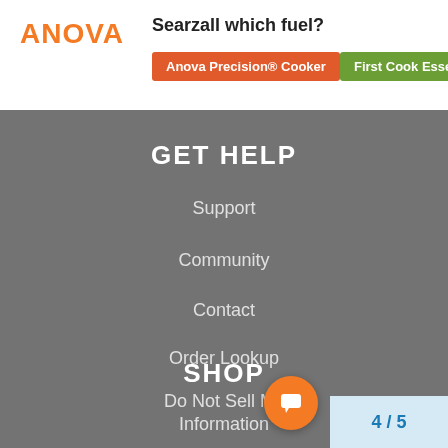ANOVA
Searzall which fuel?
Anova Precision® Cooker
First Cook Esse
GET HELP
Support
Community
Contact
Order Lookup
Do Not Sell My Information
SHOP
Store
Where to buy
4 / 5